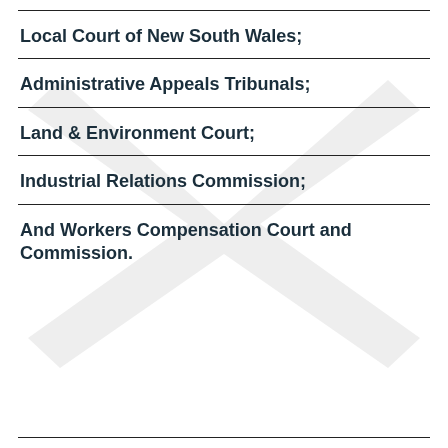Local Court of New South Wales;
Administrative Appeals Tribunals;
Land & Environment Court;
Industrial Relations Commission;
And Workers Compensation Court and Commission.